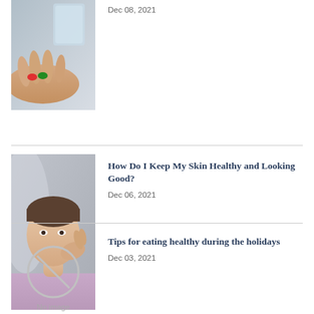[Figure (photo): Hand holding pills (red and green capsules) with a glass of water in the background]
Dec 08, 2021
How Do I Keep My Skin Healthy and Looking Good?
Dec 06, 2021
[Figure (photo): Teenager touching face looking in mirror, skin care concept]
Tips for eating healthy during the holidays
Dec 03, 2021
[Figure (photo): No image placeholder with circle-slash icon]